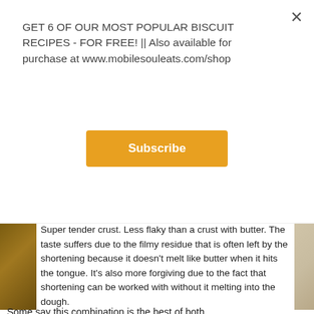GET 6 OF OUR MOST POPULAR BISCUIT RECIPES - FOR FREE! || Also available for purchase at www.mobilesouleats.com/shop
Subscribe
Super tender crust. Less flaky than a crust with butter. The taste suffers due to the filmy residue that is often left by the shortening because it doesn’t melt like butter when it hits the tongue. It’s also more forgiving due to the fact that shortening can be worked with without it melting into the dough.
Hybrid doughs (part butter- part shortening)
Some say this combination is the best of both